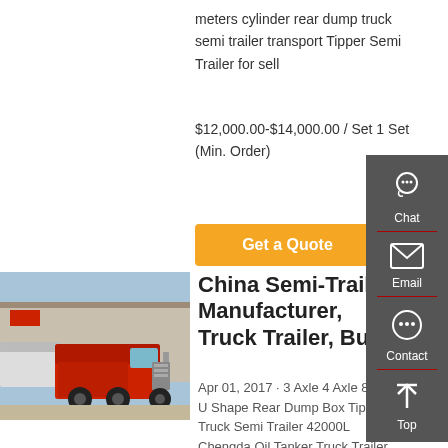meters cylinder rear dump truck semi trailer transport Tipper Semi Trailer for sell
$12,000.00-$14,000.00 / Set 1 Set (Min. Order)
Get a Quote
[Figure (photo): Red semi-truck tractor parked at a commercial lot with other trucks and a building in the background]
China Semi-Trailer Manufacturer, Truck Trailer, Bulk
Apr 01, 2017 · 3 Axle 4 Axle 80ton U Shape Rear Dump Box Tipper Truck Semi Trailer 42000L Chengda Oil Tanker Truck Trailer